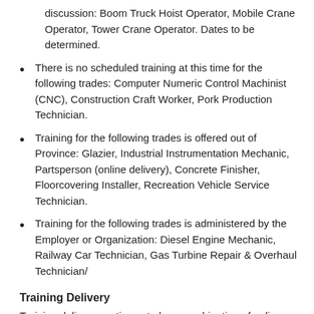discussion: Boom Truck Hoist Operator, Mobile Crane Operator, Tower Crane Operator. Dates to be determined.
There is no scheduled training at this time for the following trades: Computer Numeric Control Machinist (CNC), Construction Craft Worker, Pork Production Technician.
Training for the following trades is offered out of Province: Glazier, Industrial Instrumentation Mechanic, Partsperson (online delivery), Concrete Finisher, Floorcovering Installer, Recreation Vehicle Service Technician.
Training for the following trades is administered by the Employer or Organization: Diesel Engine Mechanic, Railway Car Technician, Gas Turbine Repair & Overhaul Technician/
Training Delivery
Training delivery continues to be a combination of online and